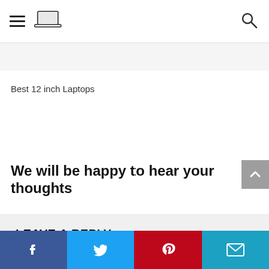Best 12 inch Laptops – site header with menu, laptop logo, and search icon
Best 12 inch Laptops
We will be happy to hear your thoughts
LEAVE A REPLY
Social share bar: Facebook, Twitter, Pinterest, Email